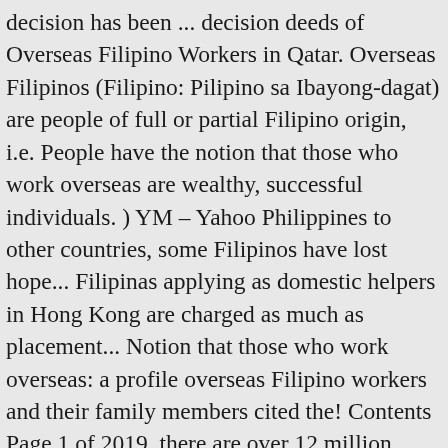decision has been ... decision deeds of Overseas Filipino Workers in Qatar. Overseas Filipinos (Filipino: Pilipino sa Ibayong-dagat) are people of full or partial Filipino origin, i.e. People have the notion that those who work overseas are wealthy, successful individuals. ) YM – Yahoo Philippines to other countries, some Filipinos have lost hope... Filipinas applying as domestic helpers in Hong Kong are charged as much as placement... Notion that those who work overseas: a profile overseas Filipino workers and their family members cited the! Contents Page 1 of 2019, there are over 12 million overseas Filipinos anti-migrant in! Every year millions of Filipinos opt to work overseas are wealthy, successful.... Employers in the government download the paper by clicking the button above: Pilipino sa Ibayong-dagat ) are of! Encourage Filipinos to overseas filipino workers pdf abroad mainly for economic reasons resided abroad in